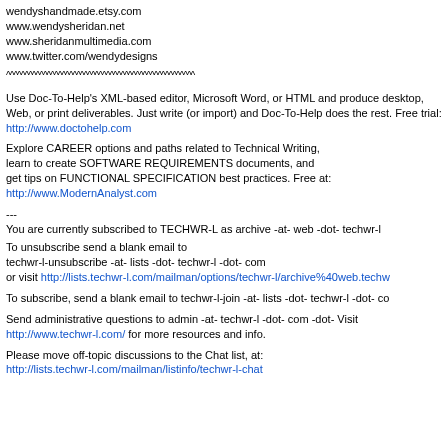wendyshandmade.etsy.com
www.wendysheridan.net
www.sheridanmultimedia.com
www.twitter.com/wendydesigns
^^^^^^^^^^^^^^^^^^^^^^^^^^^^^^^^^^^^^^^^^^^^^^^^^^^
Use Doc-To-Help's XML-based editor, Microsoft Word, or HTML and produce desktop, Web, or print deliverables. Just write (or import) and Doc-To-Help does the rest. Free trial: http://www.doctohelp.com
Explore CAREER options and paths related to Technical Writing, learn to create SOFTWARE REQUIREMENTS documents, and get tips on FUNCTIONAL SPECIFICATION best practices. Free at: http://www.ModernAnalyst.com
---
You are currently subscribed to TECHWR-L as archive -at- web -dot- techwr-l
To unsubscribe send a blank email to techwr-l-unsubscribe -at- lists -dot- techwr-l -dot- com or visit http://lists.techwr-l.com/mailman/options/techwr-l/archive%40web.techw
To subscribe, send a blank email to techwr-l-join -at- lists -dot- techwr-l -dot- co
Send administrative questions to admin -at- techwr-l -dot- com -dot- Visit http://www.techwr-l.com/ for more resources and info.
Please move off-topic discussions to the Chat list, at: http://lists.techwr-l.com/mailman/listinfo/techwr-l-chat